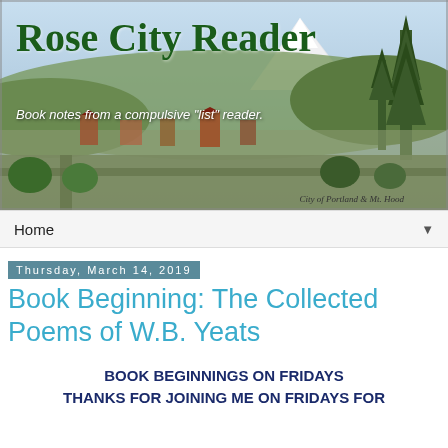[Figure (illustration): Blog header banner for 'Rose City Reader' showing a vintage panoramic illustration of the City of Portland and Mt. Hood, with green trees and mountain in background. Large serif title 'Rose City Reader' in dark green, subtitle 'Book notes from a compulsive list reader' in white italic, and caption 'City of Portland & Mt. Hood' at bottom.]
Home ▼
Thursday, March 14, 2019
Book Beginning: The Collected Poems of W.B. Yeats
BOOK BEGINNINGS ON FRIDAYS
THANKS FOR JOINING ME ON FRIDAYS FOR